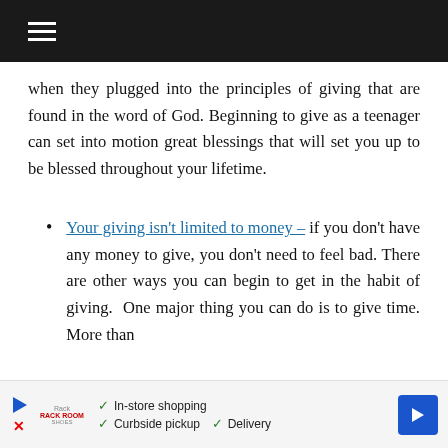≡
when they plugged into the principles of giving that are found in the word of God. Beginning to give as a teenager can set into motion great blessings that will set you up to be blessed throughout your lifetime.
Your giving isn't limited to money – if you don't have any money to give, you don't need to feel bad. There are other ways you can begin to get in the habit of giving. One major thing you can do is to give time. More than likely...
[Figure (other): Advertisement banner with play button, brand logo (Rack Room), checkmarks for In-store shopping, Curbside pickup, Delivery, and a blue navigation arrow icon.]